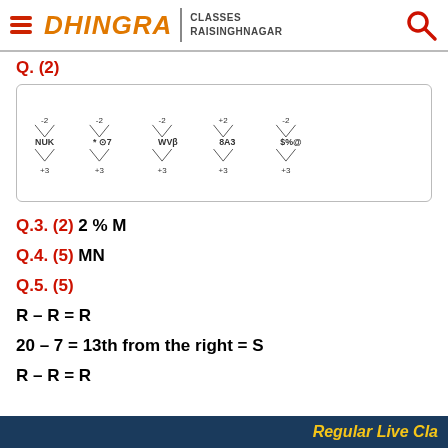DHINGRA CLASSES RAISINGHNAGAR
Q. (2)
[Figure (illustration): Diamond-pattern coded sequence diagram showing pairs of symbols connected by diamonds. Top of each diamond shows -2 and bottom shows +3. Pairs: NUK, * circle-symbol 7, WVB, 8A3, $%@]
Q.3. (2) 2 % M
Q.4. (5) MN
Q.5. (5)
R – R = R
20 – 7 = 13th from the right = S
R – R = R
Regular Live Cla